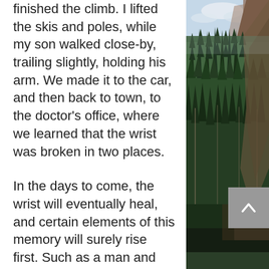finished the climb. I lifted the skis and poles, while my son walked close-by, trailing slightly, holding his arm. We made it to the car, and then back to town, to the doctor's office, where we learned that the wrist was broken in two places.
In the days to come, the wrist will eventually heal, and certain elements of this memory will surely rise first. Such as a man and his daughter who, amid a year of pain and daily reminders of our fragility, stopped and helped. And a boy who tapped composure and grit when he was scared.
The best in us remains unbroken.
[Figure (photo): A forested mountain landscape with tall evergreen trees on steep rocky slopes, photographed from above, with a partly cloudy sky visible at the top. The image is tall and narrow, occupying the right side of the page.]